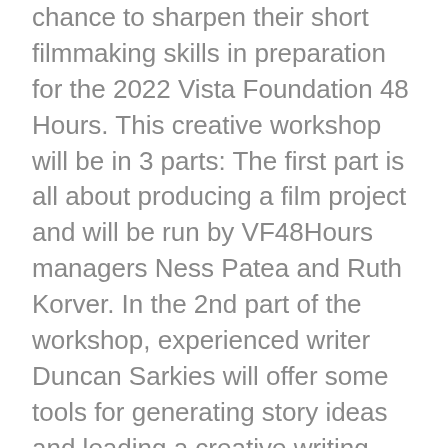chance to sharpen their short filmmaking skills in preparation for the 2022 Vista Foundation 48 Hours. This creative workshop will be in 3 parts: The first part is all about producing a film project and will be run by VF48Hours managers Ness Patea and Ruth Korver. In the 2nd part of the workshop, experienced writer Duncan Sarkies will offer some tools for generating story ideas and leading a creative writing workshop. In the third section, we will invite a local director for a 40-min Q & A session which will be hosted by Dale Corlett from the Te Tumu Whakaata Taonga/ New Zealand Film Commission. We will finish the day with a networking event to meet and connect with local filmmakers and talk film!
Our aim is to bring the Vista Foundation 48Hours to